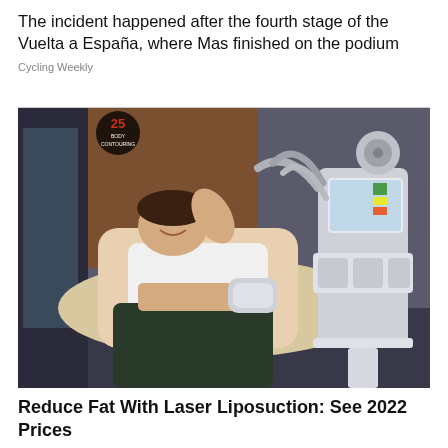The incident happened after the fourth stage of the Vuelta a España, where Mas finished on the podium
Cycling Weekly
[Figure (photo): A woman lying on a treatment chair receiving a body contouring procedure with multiple applicator hoses attached to her midsection. A medical device with a touchscreen display is visible in the background, along with a '25 Body Contouring' branded backdrop.]
Reduce Fat With Laser Liposuction: See 2022 Prices